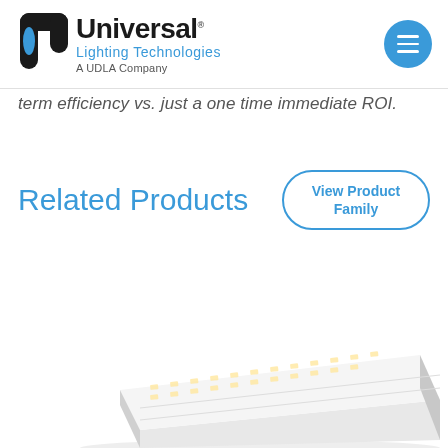[Figure (logo): Universal Lighting Technologies logo with black U symbol and blue text, 'A UDLA Company' subtitle, and blue circular menu button in top right]
term efficiency vs. just a one time immediate ROI.
Related Products
[Figure (other): Blue rounded rectangle button with text 'View Product Family']
[Figure (photo): Photo of a white LED linear lighting fixture/strip light product at an angle showing internal LED components]